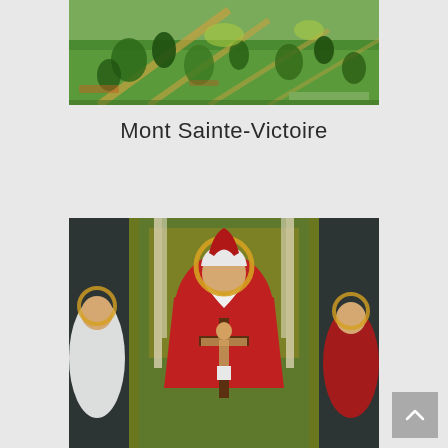[Figure (photo): Painting of Mont Sainte-Victoire landscape with green hills, trees, and ochre paths, likely by Cézanne]
Mont Sainte-Victoire
[Figure (photo): Medieval religious painting depicting God the Father on a throne holding a crucifix with Christ crucified, flanked by saints with halos, set against a golden green background]